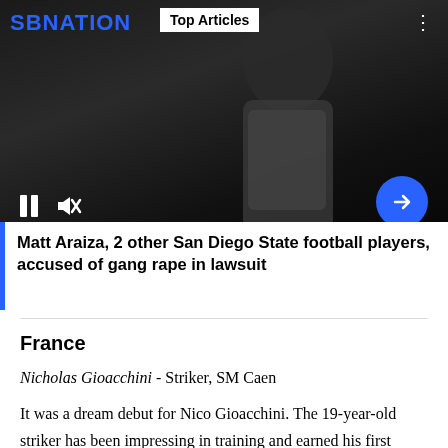[Figure (screenshot): SBNation video player showing an athlete in a white t-shirt against a dark background. Controls show a pause button and mute icon. A blue circle with right arrow is visible. 'Top Articles' label and three-dot menu are at the top. The video has a title overlay at the bottom.]
Matt Araiza, 2 other San Diego State football players, accused of gang rape in lawsuit
France
Nicholas Gioacchini - Striker, SM Caen
It was a dream debut for Nico Gioacchini. The 19-year-old striker has been impressing in training and earned his first career start on Friday as SM Caen took on Paris FC. In the 29th minute, Gioacchini made a smart